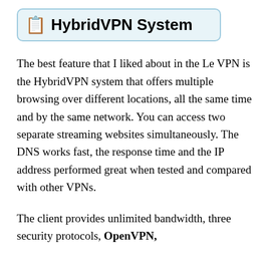HybridVPN System
The best feature that I liked about in the Le VPN is the HybridVPN system that offers multiple browsing over different locations, all the same time and by the same network. You can access two separate streaming websites simultaneously. The DNS works fast, the response time and the IP address performed great when tested and compared with other VPNs.
The client provides unlimited bandwidth, three security protocols, OpenVPN,